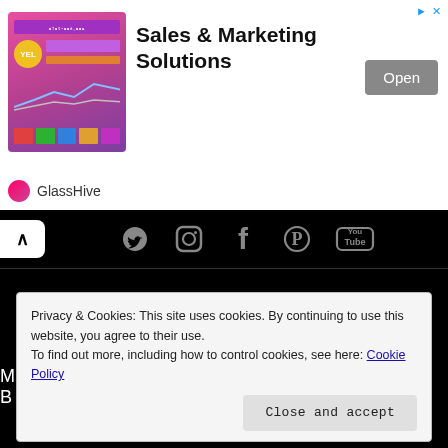[Figure (screenshot): Advertisement banner for GlassHive Sales & Marketing Solutions with a dashboard screenshot image, Open button, and GlassHive brand logo]
[Figure (screenshot): Website navigation section on black background showing social media icons (Twitter, Instagram, Facebook, Pinterest, YouTube), navigation links: HOME, FOR THE ARTIST, MUSIC BIZ, IN THE STUDIO, GEAR REVIEWS]
Privacy & Cookies: This site uses cookies. By continuing to use this website, you agree to their use.
To find out more, including how to control cookies, see here: Cookie Policy
Close and accept